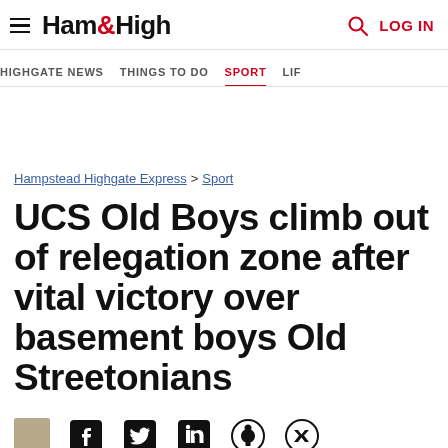Ham&High — LOG IN
HIGHGATE NEWS | THINGS TO DO | SPORT | LIF
Hampstead Highgate Express > Sport
UCS Old Boys climb out of relegation zone after vital victory over basement boys Old Streetonians